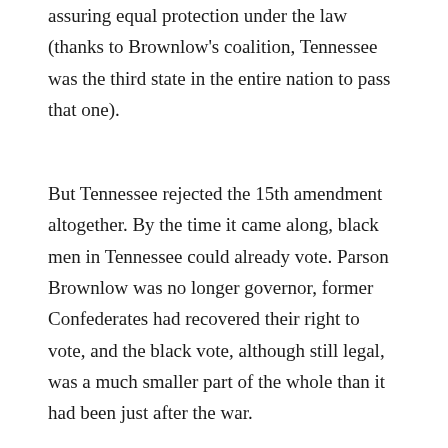assuring equal protection under the law (thanks to Brownlow's coalition, Tennessee was the third state in the entire nation to pass that one).
But Tennessee rejected the 15th amendment altogether. By the time it came along, black men in Tennessee could already vote. Parson Brownlow was no longer governor, former Confederates had recovered their right to vote, and the black vote, although still legal, was a much smaller part of the whole than it had been just after the war.